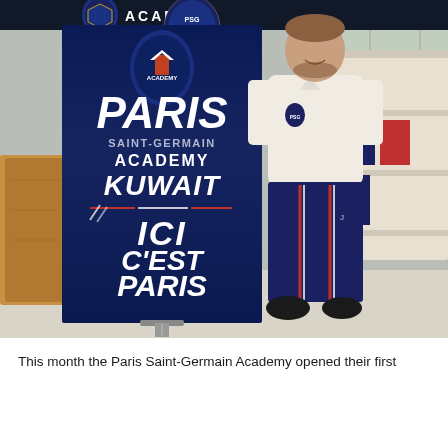[Figure (photo): A man wearing a white PSG polo shirt and navy blue PSG tracksuit bottoms stands next to a Paris Saint-Germain Academy Kuwait roll-up banner. The banner features a PSG Academy badge, the text 'PARIS SAINT-GERMAIN ACADEMY KUWAIT' and 'ICI C'EST PARIS' on a dark navy background. A wooden block sculpture is visible to the left and shelving to the right. A PSG Academy header is visible at the top of the image.]
This month the Paris Saint-Germain Academy opened their first